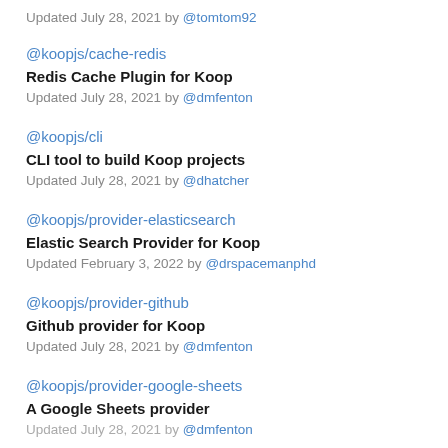Updated July 28, 2021 by @tomtom92
@koopjs/cache-redis
Redis Cache Plugin for Koop
Updated July 28, 2021 by @dmfenton
@koopjs/cli
CLI tool to build Koop projects
Updated July 28, 2021 by @dhatcher
@koopjs/provider-elasticsearch
Elastic Search Provider for Koop
Updated February 3, 2022 by @drspacemanphd
@koopjs/provider-github
Github provider for Koop
Updated July 28, 2021 by @dmfenton
@koopjs/provider-google-sheets
A Google Sheets provider
Updated July 28, 2021 by @dmfenton